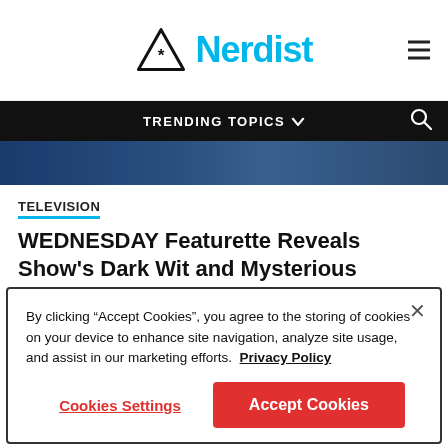Nerdist
[Figure (screenshot): Nerdist website header with triangle/asterisk logo, 'Nerdist' in cyan text, and hamburger menu icon]
[Figure (other): Black navigation bar with 'TRENDING TOPICS' text and dropdown arrow, search icon on right]
[Figure (photo): Partial hero image showing dark blue tones]
TELEVISION
WEDNESDAY Featurette Reveals Show’s Dark Wit and Mysterious Nevermore Academy
Eric Diaz    2 min read
By clicking “Accept Cookies”, you agree to the storing of cookies on your device to enhance site navigation, analyze site usage, and assist in our marketing efforts.  Privacy Policy
Cookies Settings    Accept Cookies